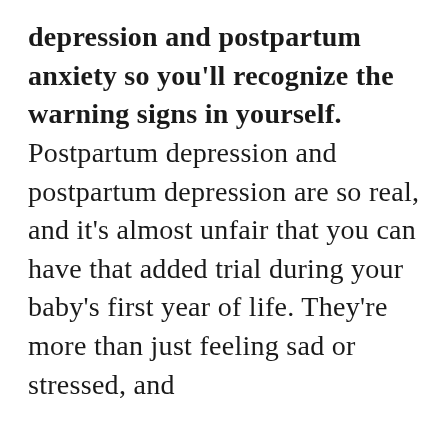depression and postpartum anxiety so you'll recognize the warning signs in yourself. Postpartum depression and postpartum depression are so real, and it's almost unfair that you can have that added trial during your baby's first year of life. They're more than just feeling sad or stressed, and